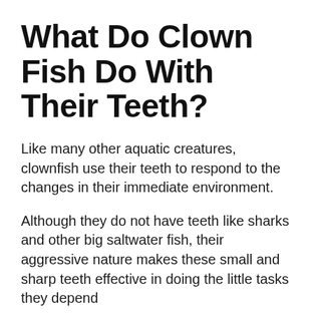What Do Clown Fish Do With Their Teeth?
Like many other aquatic creatures, clownfish use their teeth to respond to the changes in their immediate environment.
Although they do not have teeth like sharks and other big saltwater fish, their aggressive nature makes these small and sharp teeth effective in doing the little tasks they depend